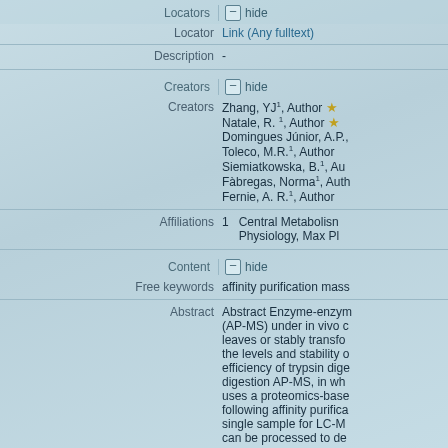Locators | hide
| Field | Value |
| --- | --- |
| Locator | Link (Any fulltext) |
| Description | - |
Creators | hide
| Field | Value |
| --- | --- |
| Creators | Zhang, YJ1, Author
Natale, R.1, Author
Domingues Júnior, A.P.,
Toleco, M.R.1, Author
Siemiatkowska, B.1, Au
Fàbregas, Norma1, Auth
Fernie, A. R.1, Author |
| Affiliations | 1  Central Metabolisn Physiology, Max Pl |
Content | hide
| Field | Value |
| --- | --- |
| Free keywords | affinity purification mass |
| Abstract | Abstract Enzyme-enzyme (AP-MS) under in vivo c leaves or stably transfo the levels and stability c efficiency of trypsin dige digestion AP-MS, in wh uses a proteomics-base following affinity purifica single sample for LC-M can be processed to de |